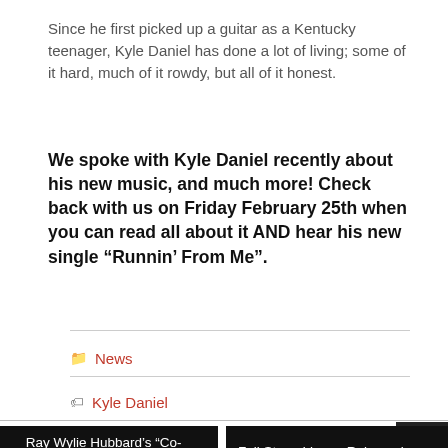Since he first picked up a guitar as a Kentucky teenager, Kyle Daniel has done a lot of living; some of it hard, much of it rowdy, but all of it honest.
We spoke with Kyle Daniel recently about his new music, and much more! Check back with us on Friday February 25th when you can read all about it AND hear his new single “Runnin’ From Me”.
News
Kyle Daniel
« Ray Wylie Hubbard’s “Co-Starring Too” Album Arrives March 18
Full Stage Lineup Released For C2C Festival London 2022 »